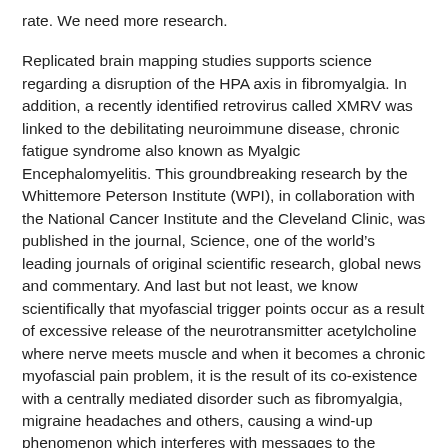rate. We need more research.
Replicated brain mapping studies supports science regarding a disruption of the HPA axis in fibromyalgia. In addition, a recently identified retrovirus called XMRV was linked to the debilitating neuroimmune disease, chronic fatigue syndrome also known as Myalgic Encephalomyelitis. This groundbreaking research by the Whittemore Peterson Institute (WPI), in collaboration with the National Cancer Institute and the Cleveland Clinic, was published in the journal, Science, one of the world’s leading journals of original scientific research, global news and commentary. And last but not least, we know scientifically that myofascial trigger points occur as a result of excessive release of the neurotransmitter acetylcholine where nerve meets muscle and when it becomes a chronic myofascial pain problem, it is the result of its co-existence with a centrally mediated disorder such as fibromyalgia, migraine headaches and others, causing a wind-up phenomenon which interferes with messages to the peripheral muscle compounding pain and dysfunction. Ask yourself, did I, my insurance company, or country know any of this?